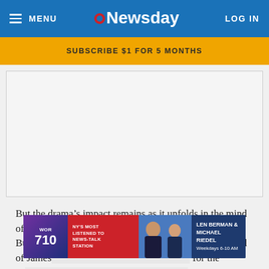MENU | Newsday | LOG IN
SUBSCRIBE $1 FOR 5 MONTHS
[Figure (other): Large advertisement placeholder area (white/light grey box)]
But the drama's impact remains as it unfolds in the mind of James … for the de…
[Figure (other): WOR 710 radio ad banner: NY'S MOST LISTENED TO NEWS-TALK STATION — LEN BERMAN & MICHAEL RIEDEL, Weekdays 6-10 AM]